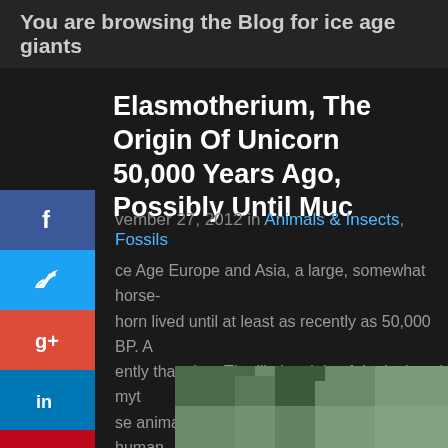You are browsing the Blog for ice age giants
Elasmotherium, The Origin Of Unicorn 50,000 Years Ago, Possibly Until Much
November 27, 2012 in Animals & Insects, Fossils
Ice Age Europe and Asia, a large, somewhat horse- horn lived until at least as recently as 50,000 BP. A ently than that. The likely origin of the 'unicorn' myt se animals would have been in contact with human w extinct, the memory of their existence has persist
[Figure (photo): Partial view of a photo showing green foliage/trees against a lighter background]